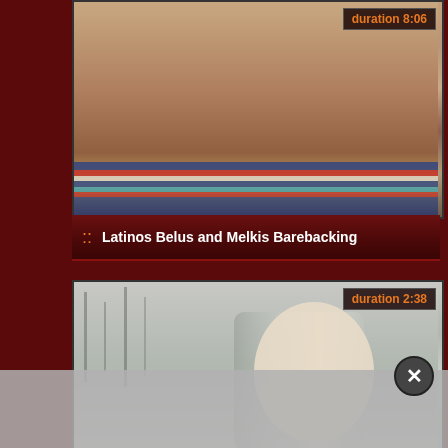[Figure (photo): Video thumbnail showing adult content, top card]
duration 8:06
Latinos Belus and Melkis Barebacking
[Figure (photo): Video thumbnail showing outdoor adult content, bottom card]
duration 2:38